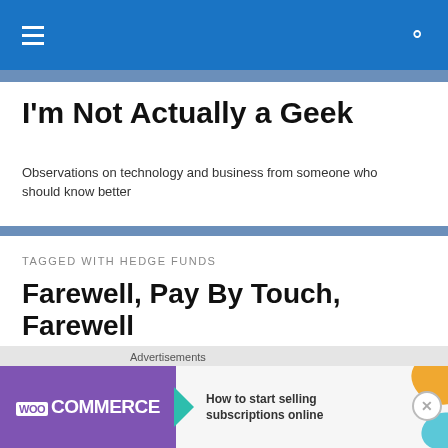I'm Not Actually a Geek — navigation bar
I'm Not Actually a Geek
Observations on technology and business from someone who should know better
TAGGED WITH HEDGE FUNDS
Farewell, Pay By Touch, Farewell
Pay By Touch has come to the end of the road. In a press
[Figure (screenshot): WooCommerce advertisement banner: How to start selling subscriptions online]